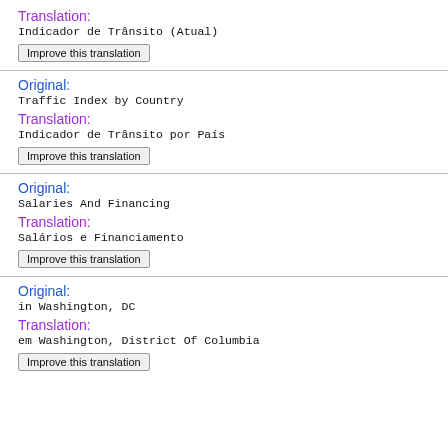Translation:
Indicador de Trânsito (Atual)
Improve this translation
Original:
Traffic Index by Country
Translation:
Indicador de Trânsito por País
Improve this translation
Original:
Salaries And Financing
Translation:
Salários e Financiamento
Improve this translation
Original:
in Washington, DC
Translation:
em Washington, District Of Columbia
Improve this translation